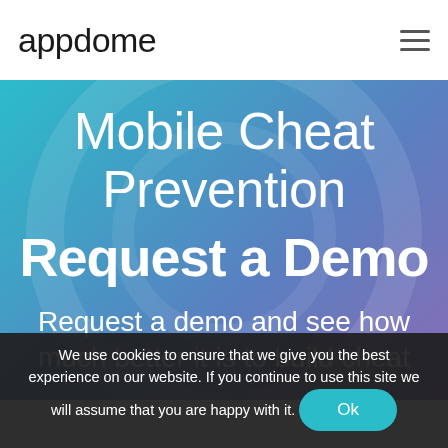appdome
Mobile Cheat Prevention
Request a Demo
Request a demo and see how much better it is to build cheat
We use cookies to ensure that we give you the best experience on our website. If you continue to use this site we will assume that you are happy with it. Ok